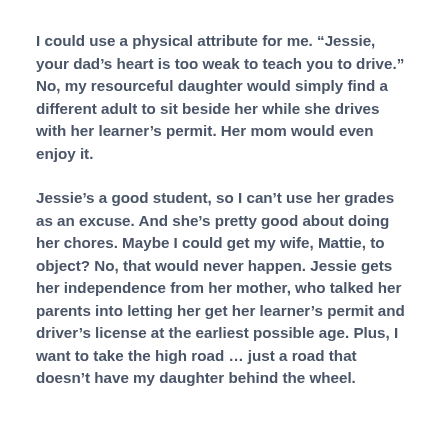I could use a physical attribute for me. “Jessie, your dad’s heart is too weak to teach you to drive.” No, my resourceful daughter would simply find a different adult to sit beside her while she drives with her learner’s permit. Her mom would even enjoy it.
Jessie’s a good student, so I can’t use her grades as an excuse. And she’s pretty good about doing her chores. Maybe I could get my wife, Mattie, to object? No, that would never happen. Jessie gets her independence from her mother, who talked her parents into letting her get her learner’s permit and driver’s license at the earliest possible age. Plus, I want to take the high road … just a road that doesn’t have my daughter behind the wheel.